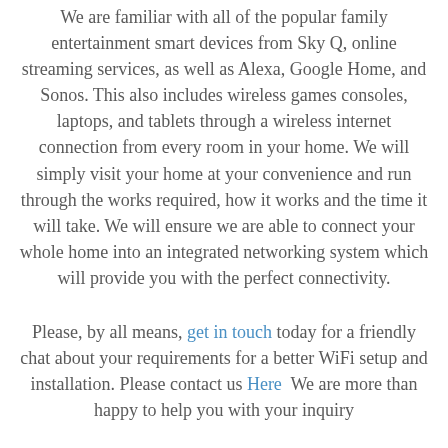We are familiar with all of the popular family entertainment smart devices from Sky Q, online streaming services, as well as Alexa, Google Home, and Sonos. This also includes wireless games consoles, laptops, and tablets through a wireless internet connection from every room in your home. We will simply visit your home at your convenience and run through the works required, how it works and the time it will take. We will ensure we are able to connect your whole home into an integrated networking system which will provide you with the perfect connectivity.
Please, by all means, get in touch today for a friendly chat about your requirements for a better WiFi setup and installation. Please contact us Here  We are more than happy to help you with your inquiry